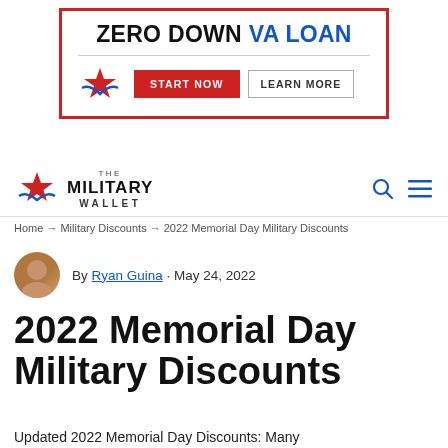[Figure (screenshot): Advertisement banner with red border. Text reads 'ZERO DOWN VA LOAN' with a red star/eagle logo, red 'START NOW' button, and gray 'LEARN MORE' button.]
THE MILITARY WALLET
Home → Military Discounts → 2022 Memorial Day Military Discounts
By Ryan Guina · May 24, 2022
2022 Memorial Day Military Discounts
Updated 2022 Memorial Day Discounts: Many